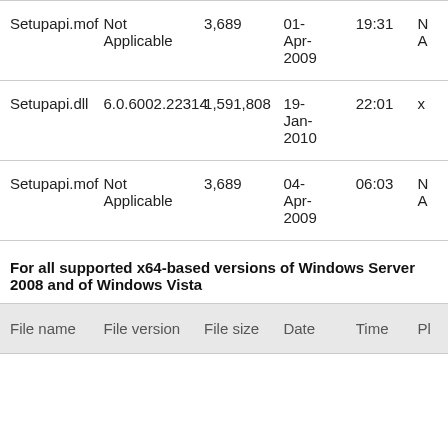| File name | File version | File size | Date | Time | Pl |
| --- | --- | --- | --- | --- | --- |
| Setupapi.mof | Not Applicable | 3,689 | 01-Apr-2009 | 19:31 | N A |
| Setupapi.dll | 6.0.6002.22314 | 1,591,808 | 19-Jan-2010 | 22:01 | x |
| Setupapi.mof | Not Applicable | 3,689 | 04-Apr-2009 | 06:03 | N A |
For all supported x64-based versions of Windows Server 2008 and of Windows Vista
| File name | File version | File size | Date | Time | Pl |
| --- | --- | --- | --- | --- | --- |